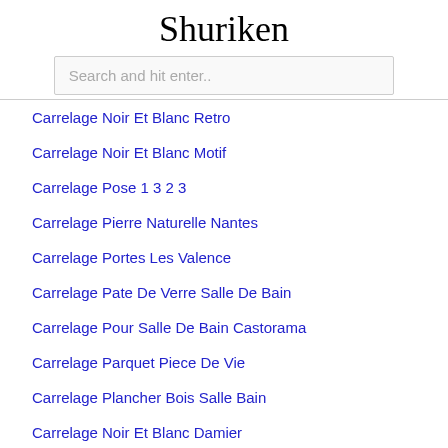Shuriken
Search and hit enter..
Carrelage Noir Et Blanc Retro
Carrelage Noir Et Blanc Motif
Carrelage Pose 1 3 2 3
Carrelage Pierre Naturelle Nantes
Carrelage Portes Les Valence
Carrelage Pate De Verre Salle De Bain
Carrelage Pour Salle De Bain Castorama
Carrelage Parquet Piece De Vie
Carrelage Plancher Bois Salle Bain
Carrelage Noir Et Blanc Damier